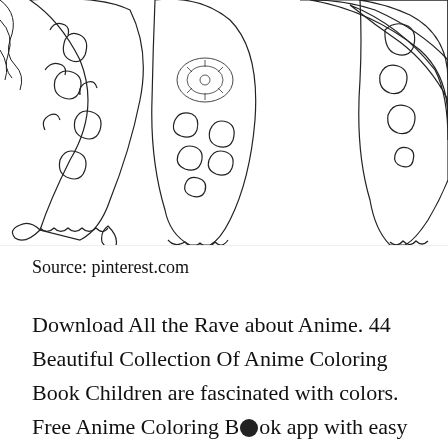[Figure (illustration): Black and white line-art coloring page illustration showing decorative anime-style flags or banners with ornate swirl and floral patterns, partially cropped at top and sides.]
Source: pinterest.com
Download All the Rave about Anime. 44 Beautiful Collection Of Anime Coloring Book Children are fascinated with colors. Free Anime Coloring Book app with easy tap